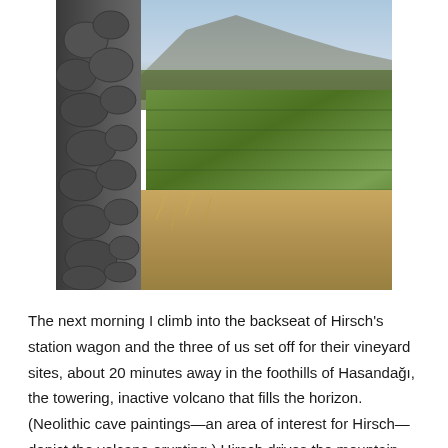[Figure (photo): Outdoor photograph showing a stone wall made of dark volcanic rocks on the left foreground, with green grapevines/vineyard rows in the middle ground, dry brown earth and straw in the lower center, and mountains with blue sky in the background.]
The next morning I climb into the backseat of Hirsch's station wagon and the three of us set off for their vineyard sites, about 20 minutes away in the foothills of Hasandağı, the towering, inactive volcano that fills the horizon. (Neolithic cave paintings—an area of interest for Hirsch—depict the volcano erupting.) Hirsch drives the mountain passes furiously, shifting into a passing gear